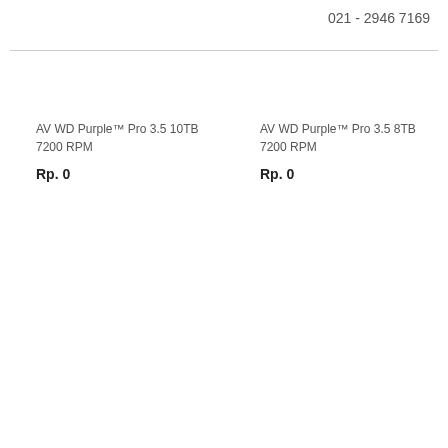021 - 2946 7169
AV WD Purple™ Pro 3.5 10TB 7200 RPM
Rp. 0
AV WD Purple™ Pro 3.5 8TB 7200 RPM
Rp. 0